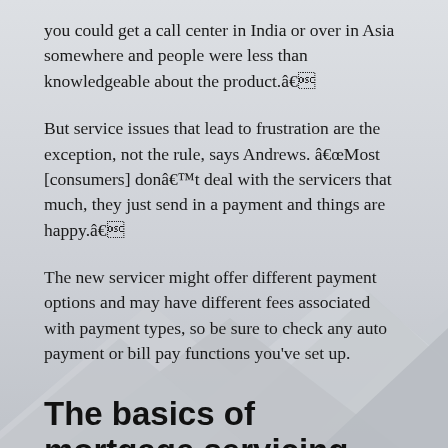you could get a call center in India or over in Asia somewhere and people were less than knowledgeable about the product.â
But service issues that lead to frustration are the exception, not the rule, says Andrews. âMost [consumers] donât deal with the servicers that much, they just send in a payment and things are happy.â
The new servicer might offer different payment options and may have different fees associated with payment types, so be sure to check any auto payment or bill pay functions you've set up.
The basics of mortgage servicing
To understand why mortgages are sold, itâs important to understand some basics.